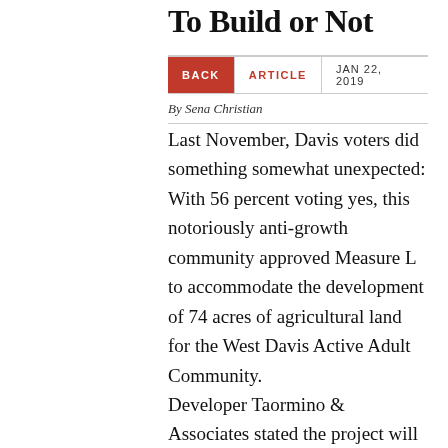To Build or Not
BACK | ARTICLE | JAN 22, 2019
By Sena Christian
Last November, Davis voters did something somewhat unexpected: With 56 percent voting yes, this notoriously anti-growth community approved Measure L to accommodate the development of 74 acres of agricultural land for the West Davis Active Adult Community.
Developer Taormino & Associates stated the project will serve current